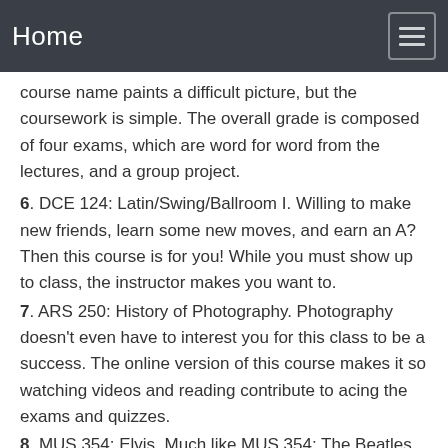Home
course name paints a difficult picture, but the coursework is simple. The overall grade is composed of four exams, which are word for word from the lectures, and a group project.
6. DCE 124: Latin/Swing/Ballroom I. Willing to make new friends, learn some new moves, and earn an A? Then this course is for you! While you must show up to class, the instructor makes you want to.
7. ARS 250: History of Photography. Photography doesn't even have to interest you for this class to be a success. The online version of this course makes it so watching videos and reading contribute to acing the exams and quizzes.
8. MUS 354: Elvis. Much like MUS 354: The Beatles, this online course doesn't ask for a lot of spent time nor does it challenge the students taking it. If you're a fan of The King, this will be an easy one, a favorite of the…